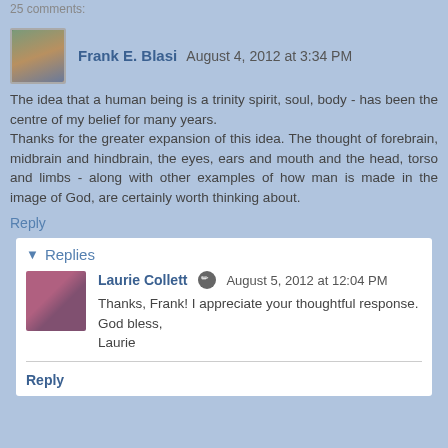25 comments:
Frank E. Blasi  August 4, 2012 at 3:34 PM
The idea that a human being is a trinity spirit, soul, body - has been the centre of my belief for many years. Thanks for the greater expansion of this idea. The thought of forebrain, midbrain and hindbrain, the eyes, ears and mouth and the head, torso and limbs - along with other examples of how man is made in the image of God, are certainly worth thinking about.
Reply
Replies
Laurie Collett  August 5, 2012 at 12:04 PM
Thanks, Frank! I appreciate your thoughtful response.
God bless,
Laurie
Reply